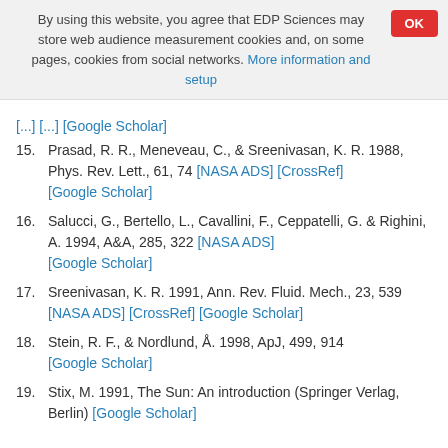By using this website, you agree that EDP Sciences may store web audience measurement cookies and, on some pages, cookies from social networks. More information and setup
15. Prasad, R. R., Meneveau, C., & Sreenivasan, K. R. 1988, Phys. Rev. Lett., 61, 74 [NASA ADS] [CrossRef] [Google Scholar]
16. Salucci, G., Bertello, L., Cavallini, F., Ceppatelli, G. & Righini, A. 1994, A&A, 285, 322 [NASA ADS] [Google Scholar]
17. Sreenivasan, K. R. 1991, Ann. Rev. Fluid. Mech., 23, 539 [NASA ADS] [CrossRef] [Google Scholar]
18. Stein, R. F., & Nordlund, Å. 1998, ApJ, 499, 914 [Google Scholar]
19. Stix, M. 1991, The Sun: An introduction (Springer Verlag, Berlin) [Google Scholar]